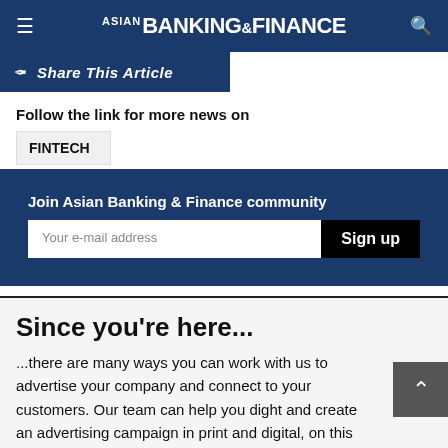ASIAN BANKING & FINANCE
Share This Article
Follow the link for more news on
FINTECH
Join Asian Banking & Finance community
Your e-mail address
Sign up
Since you're here...
...there are many ways you can work with us to advertise your company and connect to your customers. Our team can help you dight and create an advertising campaign in print and digital, on this website and in print magazine.